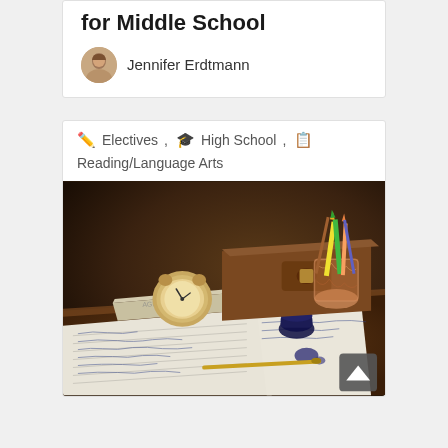for Middle School
Jennifer Erdtmann
Electives, High School, Reading/Language Arts
[Figure (photo): Vintage school desk scene with an alarm clock, leather satchel, pencil holder with colored pencils, open notebook with handwriting, inkwell, and pen on a wooden desk surface.]